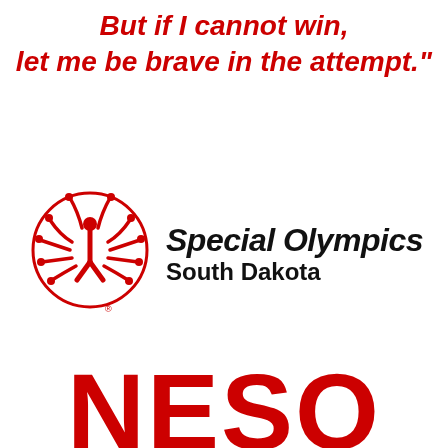But if I cannot win,
let me be brave in the attempt."
[Figure (logo): Special Olympics South Dakota logo: red circular emblem with stylized human figure and radiating shapes, beside bold black text reading 'Special Olympics' and 'South Dakota']
NESO (partial, large red bold text at bottom)